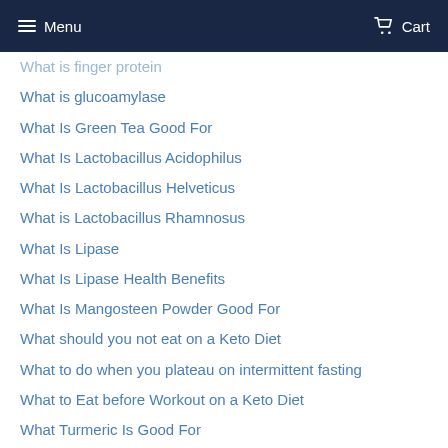Menu  Cart
What is finger protein
What is glucoamylase
What Is Green Tea Good For
What Is Lactobacillus Acidophilus
What Is Lactobacillus Helveticus
What is Lactobacillus Rhamnosus
What Is Lipase
What Is Lipase Health Benefits
What Is Mangosteen Powder Good For
What should you not eat on a Keto Diet
What to do when you plateau on intermittent fasting
What to Eat before Workout on a Keto Diet
What Turmeric Is Good For
What Wheatgrass Good For
Wheatgrass
When To Take Activated Charcoal For Hangover
Where Does Manuka Honey Come From